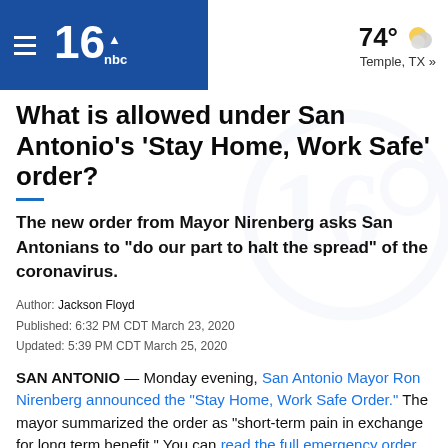KENS5 navigation header with weather: 74° Temple, TX »
What is allowed under San Antonio's 'Stay Home, Work Safe' order?
The new order from Mayor Nirenberg asks San Antonians to "do our part to halt the spread" of the coronavirus.
Author: Jackson Floyd
Published: 6:32 PM CDT March 23, 2020
Updated: 5:39 PM CDT March 25, 2020
SAN ANTONIO — Monday evening, San Antonio Mayor Ron Nirenberg announced the "Stay Home, Work Safe Order." The mayor summarized the order as "short-term pain in exchange for long term benefit." You can read the full emergency order here.
Beginning Tuesday, all individuals living within San Antonio